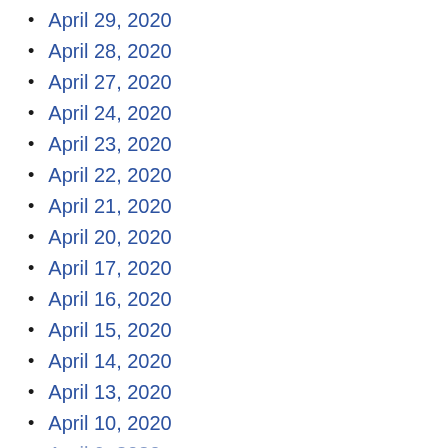April 29, 2020
April 28, 2020
April 27, 2020
April 24, 2020
April 23, 2020
April 22, 2020
April 21, 2020
April 20, 2020
April 17, 2020
April 16, 2020
April 15, 2020
April 14, 2020
April 13, 2020
April 10, 2020
April 9, 2020